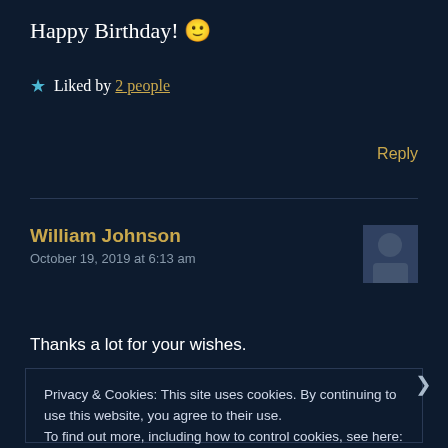Happy Birthday! 🙂
Liked by 2 people
Reply
William Johnson
October 19, 2019 at 6:13 am
Thanks a lot for your wishes.
Privacy & Cookies: This site uses cookies. By continuing to use this website, you agree to their use.
To find out more, including how to control cookies, see here: Cookie Policy
Close and accept